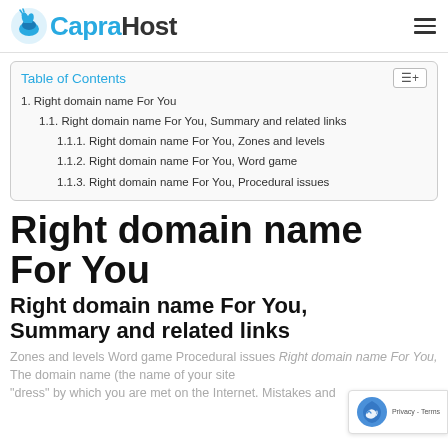CapraHost
Table of Contents
1. Right domain name For You
1.1. Right domain name For You, Summary and related links
1.1.1. Right domain name For You, Zones and levels
1.1.2. Right domain name For You, Word game
1.1.3. Right domain name For You, Procedural issues
Right domain name For You
Right domain name For You, Summary and related links
Zones and levels Word game Procedural issues Right domain name For You, The domain name (the name of your site "dress" by which you are met on the Internet. Mistakes and